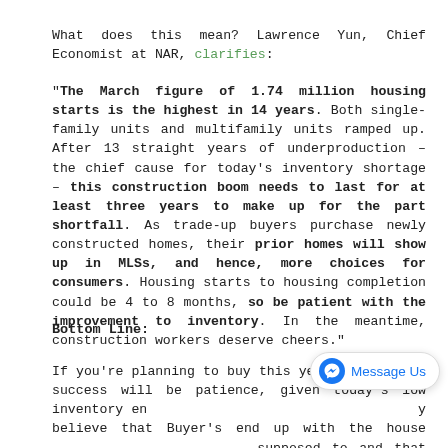What does this mean? Lawrence Yun, Chief Economist at NAR, clarifies:
"The March figure of 1.74 million housing starts is the highest in 14 years. Both single-family units and multifamily units ramped up. After 13 straight years of underproduction – the chief cause for today's inventory shortage – this construction boom needs to last for at least three years to make up for the part shortfall. As trade-up buyers purchase newly constructed homes, their prior homes will show up in MLSs, and hence, more choices for consumers. Housing starts to housing completion could be 4 to 8 months, so be patient with the improvement to inventory. In the meantime, construction workers deserve cheers."
Bottom Line:
If you're planning to buy this year, the key to success will be patience, given today's low inventory en... y believe that Buyer's end up with the house. they supposed to and that everything falls into place when the right house